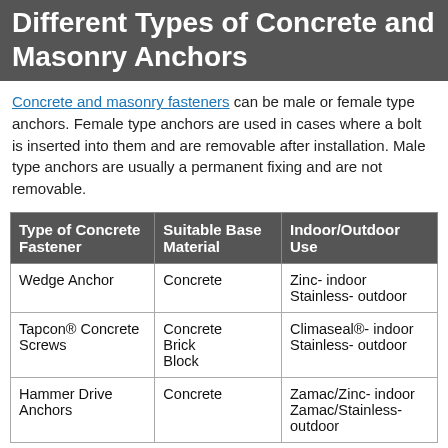Different Types of Concrete and Masonry Anchors
Concrete and masonry fasteners can be male or female type anchors. Female type anchors are used in cases where a bolt is inserted into them and are removable after installation. Male type anchors are usually a permanent fixing and are not removable.
| Type of Concrete Fastener | Suitable Base Material | Indoor/Outdoor Use |
| --- | --- | --- |
| Wedge Anchor | Concrete | Zinc- indoor
Stainless- outdoor |
| Tapcon® Concrete Screws | Concrete
Brick
Block | Climaseal®- indoor
Stainless- outdoor |
| Hammer Drive Anchors | Concrete | Zamac/Zinc- indoor
Zamac/Stainless- outdoor |